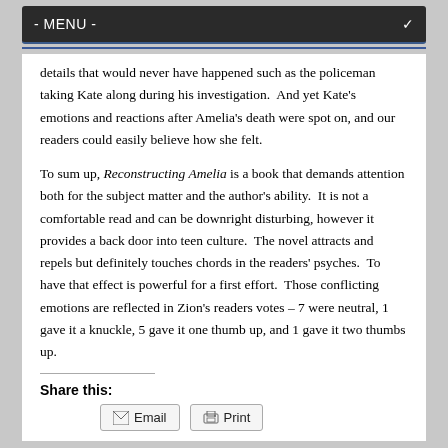- MENU -
details that would never have happened such as the policeman taking Kate along during his investigation.  And yet Kate's emotions and reactions after Amelia's death were spot on, and our readers could easily believe how she felt.
To sum up, Reconstructing Amelia is a book that demands attention both for the subject matter and the author's ability.  It is not a comfortable read and can be downright disturbing, however it provides a back door into teen culture.  The novel attracts and repels but definitely touches chords in the readers' psyches.  To have that effect is powerful for a first effort.  Those conflicting emotions are reflected in Zion's readers votes – 7 were neutral, 1 gave it a knuckle, 5 gave it one thumb up, and 1 gave it two thumbs up.
Share this: